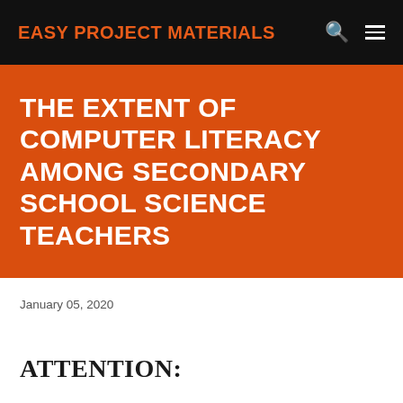EASY PROJECT MATERIALS
THE EXTENT OF COMPUTER LITERACY AMONG SECONDARY SCHOOL SCIENCE TEACHERS
January 05, 2020
ATTENTION: